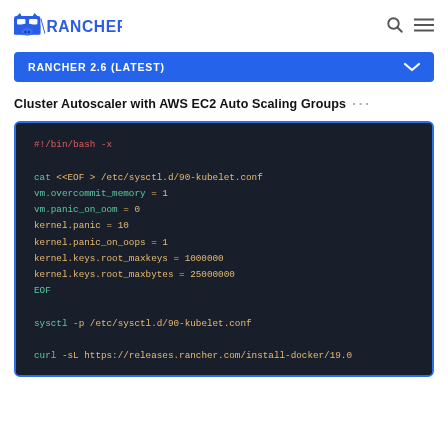RANCHER [logo]
RANCHER 2.6 (LATEST)
Cluster Autoscaler with AWS EC2 Auto Scaling Groups
[Figure (screenshot): Dark-themed code block showing a bash script with sysctl configuration and docker install curl command]